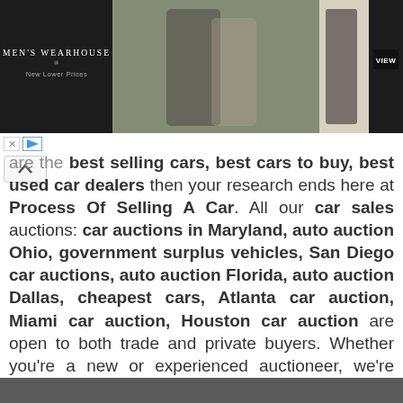[Figure (other): Men's Wearhouse advertisement banner showing a couple in formal wear, a man in a suit, and a VIEW button]
are the best selling cars, best cars to buy, best used car dealers then your research ends here at Process Of Selling A Car. All our car sales auctions: car auctions in Maryland, auto auction Ohio, government surplus vehicles, San Diego car auctions, auto auction Florida, auto auction Dallas, cheapest cars, Atlanta car auction, Miami car auction, Houston car auction are open to both trade and private buyers. Whether you're a new or experienced auctioneer, we're ready to guide you through the process of looking up cars to buy or sell